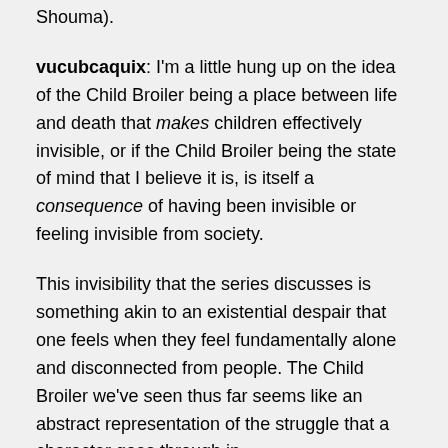Shouma).
vucubcaquix: I'm a little hung up on the idea of the Child Broiler being a place between life and death that makes children effectively invisible, or if the Child Broiler being the state of mind that I believe it is, is itself a consequence of having been invisible or feeling invisible from society.
This invisibility that the series discusses is something akin to an existential despair that one feels when they feel fundamentally alone and disconnected from people. The Child Broiler we've seen thus far seems like an abstract representation of the struggle that a character goes through in